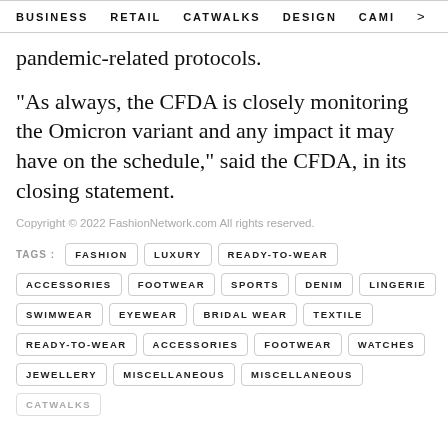BUSINESS   RETAIL   CATWALKS   DESIGN   CAMI  >
pandemic-related protocols.
"As always, the CFDA is closely monitoring the Omicron variant and any impact it may have on the schedule," said the CFDA, in its closing statement.
Copyright © 2022 FashionNetwork.com All rights reserved.
TAGS: FASHION LUXURY READY-TO-WEAR ACCESSORIES FOOTWEAR SPORTS DENIM LINGERIE SWIMWEAR EYEWEAR BRIDAL WEAR TEXTILE READY-TO-WEAR ACCESSORIES FOOTWEAR WATCHES JEWELLERY MISCELLANEOUS MISCELLANEOUS